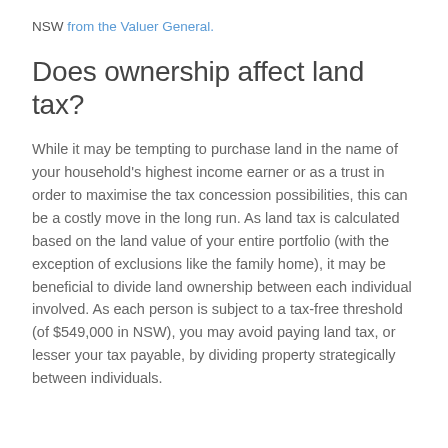NSW from the Valuer General.
Does ownership affect land tax?
While it may be tempting to purchase land in the name of your household's highest income earner or as a trust in order to maximise the tax concession possibilities, this can be a costly move in the long run. As land tax is calculated based on the land value of your entire portfolio (with the exception of exclusions like the family home), it may be beneficial to divide land ownership between each individual involved. As each person is subject to a tax-free threshold (of $549,000 in NSW), you may avoid paying land tax, or lesser your tax payable, by dividing property strategically between individuals.